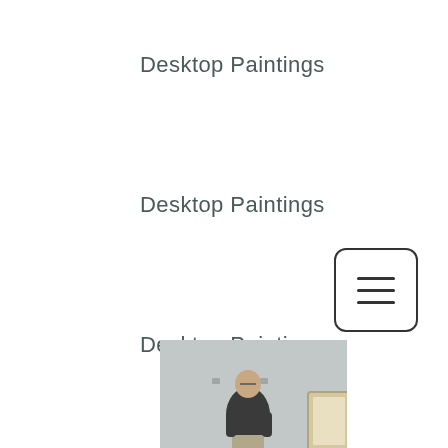Desktop Paintings
Desktop Paintings
Desktop Paintings
[Figure (logo): Instagram logo icon — gradient circle with camera outline]
[Figure (other): Hamburger menu button — three horizontal lines inside a rounded rectangle border]
[Figure (photo): Photo of a middle-aged man with glasses and beard standing in front of a light grey wall next to a canvas/frame, wearing a dark grey v-neck t-shirt and light trousers]